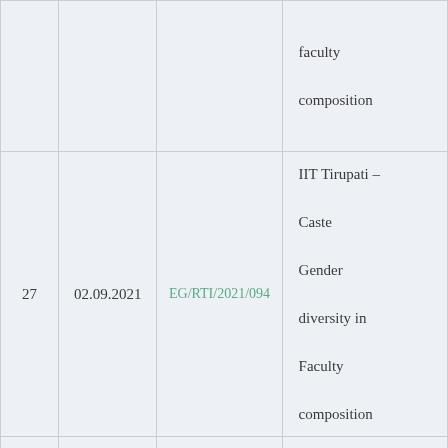| # | Date | RTI Code | Description |
| --- | --- | --- | --- |
|  |  |  | faculty composition |
| 27 | 02.09.2021 | EG/RTI/2021/094 | IIT Tirupati – Caste Gender diversity in Faculty composition |
| 28 | 06.09.2021 | EG/RTI/2021/095 | IIT Kanpur – Social and Gender diversity in Faculty composition |